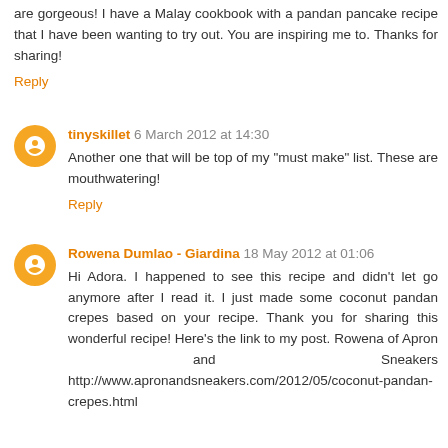are gorgeous! I have a Malay cookbook with a pandan pancake recipe that I have been wanting to try out. You are inspiring me to. Thanks for sharing!
Reply
tinyskillet 6 March 2012 at 14:30
Another one that will be top of my "must make" list. These are mouthwatering!
Reply
Rowena Dumlao - Giardina 18 May 2012 at 01:06
Hi Adora. I happened to see this recipe and didn't let go anymore after I read it. I just made some coconut pandan crepes based on your recipe. Thank you for sharing this wonderful recipe! Here's the link to my post. Rowena of Apron and Sneakers http://www.apronandsneakers.com/2012/05/coconut-pandan-crepes.html